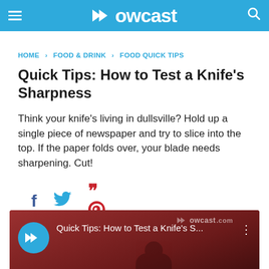Howcast
HOME › FOOD & DRINK › FOOD QUICK TIPS
Quick Tips: How to Test a Knife's Sharpness
Think your knife's living in dullsville? Hold up a single piece of newspaper and try to slice into the top. If the paper folds over, your blade needs sharpening. Cut!
[Figure (screenshot): Social sharing icons: Facebook (f), Twitter (bird), Pinterest (p)]
[Figure (screenshot): Howcast video thumbnail showing 'Quick Tips: How to Test a Knife's S...' with Howcast logo circle, watermark, and dark red background with person's hands visible at bottom.]